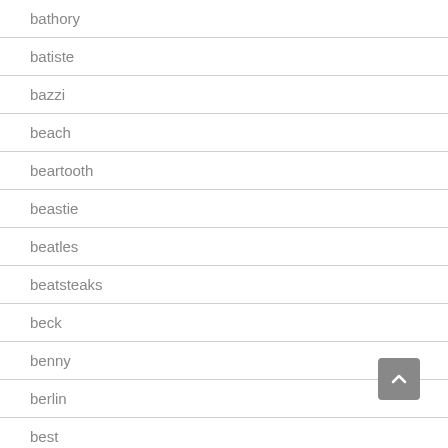bathory
batiste
bazzi
beach
beartooth
beastie
beatles
beatsteaks
beck
benny
berlin
best